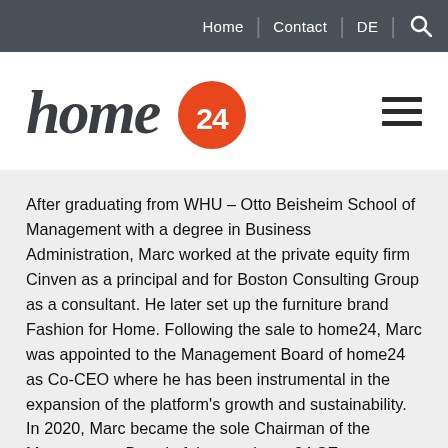Home | Contact | DE | Search
[Figure (logo): home24 logo with orange circle containing '24' and stylized lowercase 'home' text in dark gray]
After graduating from WHU – Otto Beisheim School of Management with a degree in Business Administration, Marc worked at the private equity firm Cinven as a principal and for Boston Consulting Group as a consultant. He later set up the furniture brand Fashion for Home. Following the sale to home24, Marc was appointed to the Management Board of home24 as Co-CEO where he has been instrumental in the expansion of the platform's growth and sustainability. In 2020, Marc became the sole Chairman of the Management Board of the now home24 SE.